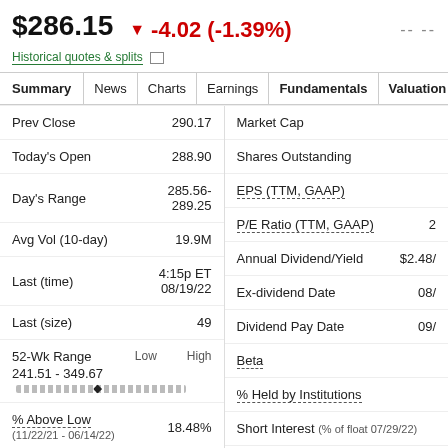$286.15  ▼ -4.02 (-1.39%)  -- --
Historical quotes & splits
| Summary | News | Charts | Earnings | Fundamentals | Valuation | C |
| --- | --- | --- | --- | --- | --- | --- |
| Prev Close | 290.17 |
| Today's Open | 288.90 |
| Day's Range | 285.56-289.25 |
| Avg Vol (10-day) | 19.9M |
| Last (time) | 4:15p ET 08/19/22 |
| Last (size) | 49 |
| 52-Wk Range 241.51 - 349.67 | Low / High bar |
| % Above Low (11/22/21 - 06/14/22) | 18.48% |
| Historical Volatility | 30.3% |
| Market Cap |  |
| Shares Outstanding |  |
| EPS (TTM, GAAP) |  |
| P/E Ratio (TTM, GAAP) | 2 |
| Annual Dividend/Yield | $2.48/ |
| Ex-dividend Date | 08/ |
| Dividend Pay Date | 09/ |
| Beta |  |
| % Held by Institutions |  |
| Short Interest (% of float 07/29/22) |  |